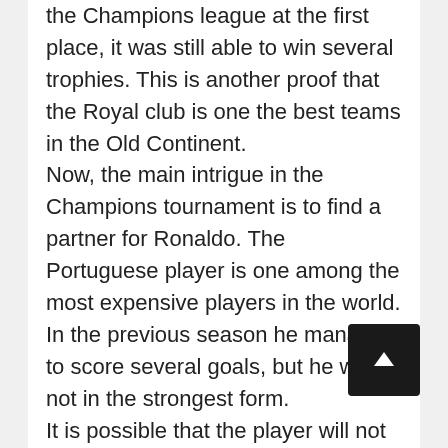the Champions league at the first place, it was still able to win several trophies. This is another proof that the Royal club is one the best teams in the Old Continent.
Now, the main intrigue in the Champions tournament is to find a partner for Ronaldo. The Portuguese player is one among the most expensive players in the world. In the previous season he managed to score several goals, but he was not in the strongest form.
It is possible that the player will not be able to repeat his previous successes, which is why the main goal of the club is to sign a new star. Fscore is a reliable resource for fans of football. Here you can find the results of all the matches of the season, as well as the schedule of upcoming competitions.